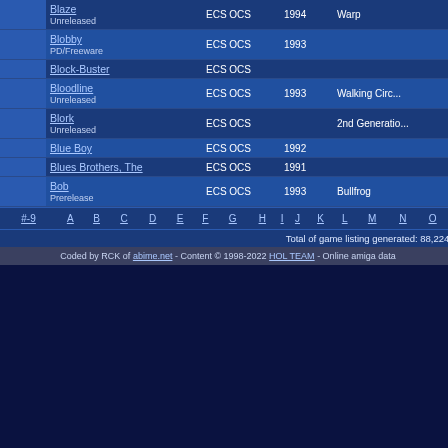|  | Name | Chipset | Year | Publisher |
| --- | --- | --- | --- | --- |
|  | Blaze
Unreleased | ECS OCS | 1994 | Warp |
|  | Blobby
PD/Freeware | ECS OCS | 1993 |  |
|  | Block-Buster | ECS OCS |  |  |
|  | Bloodline
Unreleased | ECS OCS | 1993 | Walking Circ... |
|  | Blork
Unreleased | ECS OCS |  | 2nd Generatio... |
|  | Blue Boy | ECS OCS | 1992 |  |
|  | Blues Brothers, The | ECS OCS | 1991 |  |
|  | Bob
Prerelease | ECS OCS | 1993 | Bullfrog |
#-9 A B C D E F G H I J K L M N O
Total of game listing generated: 88,224,
Coded by RCK of abime.net - Content © 1998-2022 HOL TEAM - Online amiga data